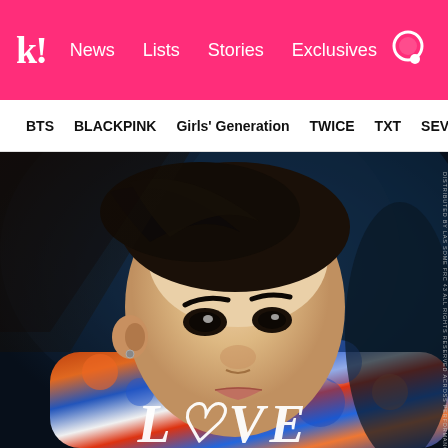k! News Lists Stories Exclusives
BTS BLACKPINK Girls' Generation TWICE TXT SEVE
[Figure (photo): Close-up portrait of a K-pop male artist with dark hair swept across forehead, wearing a colorful patterned shirt. Shadow falls diagonally across the face. Magazine cover style photo with 'LOVE' text partially visible at bottom. Vertical magazine text visible on right edge.]